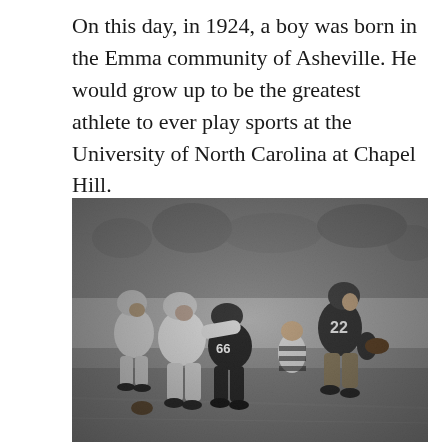On this day, in 1924, a boy was born in the Emma community of Asheville. He would grow up to be the greatest athlete to ever play sports at the University of North Carolina at Chapel Hill.
[Figure (photo): Black and white vintage football photo showing players in action. A player wearing jersey number 22 carries the football while being pursued by defensive players including one wearing number 66. The game appears to be from the 1940s era.]